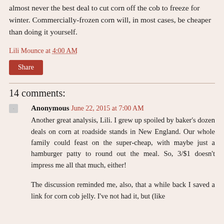almost never the best deal to cut corn off the cob to freeze for winter. Commercially-frozen corn will, in most cases, be cheaper than doing it yourself.
Lili Mounce at 4:00 AM
Share
14 comments:
Anonymous June 22, 2015 at 7:00 AM
Another great analysis, Lili. I grew up spoiled by baker's dozen deals on corn at roadside stands in New England. Our whole family could feast on the super-cheap, with maybe just a hamburger patty to round out the meal. So, 3/$1 doesn't impress me all that much, either!
The discussion reminded me, also, that a while back I saved a link for corn cob jelly. I've not had it, but (like